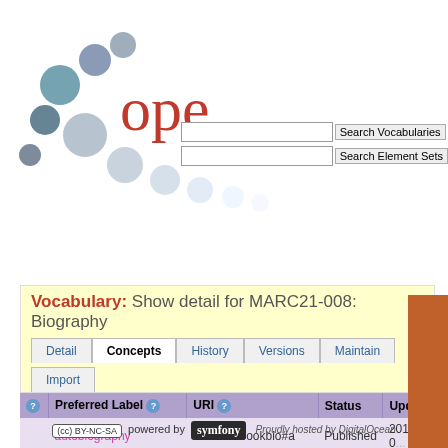[Figure (logo): Open Metadata Registry logo with circles and 'ope' text in red]
[Figure (screenshot): Search Vocabularies and Search Element Sets input fields]
Vocabulary: Show detail for MARC21-008: Biography
| Preferred Label | URI | Status | Update |
| --- | --- | --- | --- |
| autobiography | .../terms/bookbio#a | Published | 2011-0... |
| collective biography | .../terms/bookbio#c | Published | 2011-0... |
| contains biographical information | .../terms/bookbio#d | Published | 2011-0... |
| individual biography | .../terms/bookbio#b | Published | 2011-0... |
| no biographical material | .../terms/bookbio#%23 | Published | 2011-0... |
5 results
CC BY-NC-SA powered by symfony - Proudly hosted by DigitalOcean